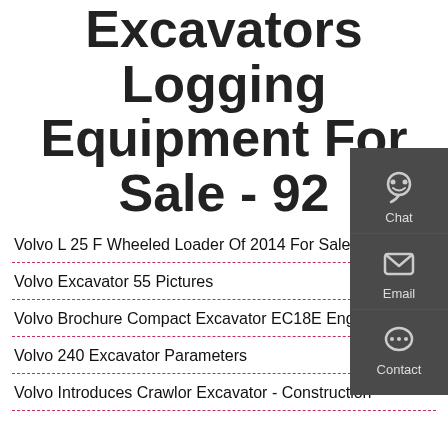Excavators Logging Equipment For Sale - 92
Volvo L 25 F Wheeled Loader Of 2014 For Sale -
Volvo Excavator 55 Pictures
Volvo Brochure Compact Excavator EC18E English
Volvo 240 Excavator Parameters
Volvo Introduces Crawlor Excavator - Construction